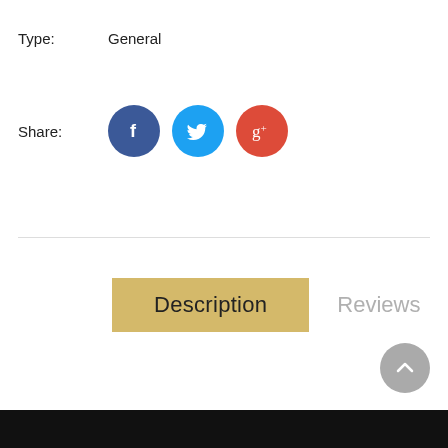Type:   General
[Figure (infographic): Share row with social media icons: Facebook (dark blue circle with f), Twitter (light blue circle with bird), Google+ (red circle with g+)]
Description   Reviews